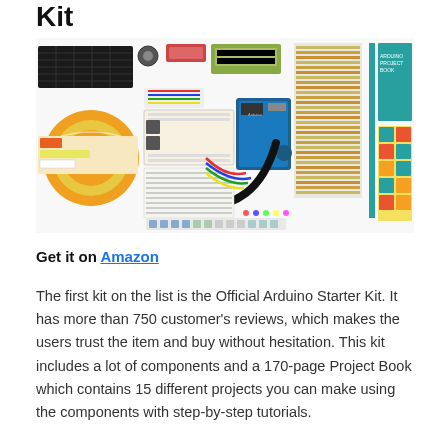Kit
[Figure (photo): Arduino Starter Kit contents spread out: includes breadboard, Arduino board, resistors, capacitors, LEDs, cables, LCD display, sticker sheets, CD, and a Project Book.]
Get it on Amazon
The first kit on the list is the Official Arduino Starter Kit. It has more than 750 customer's reviews, which makes the users trust the item and buy without hesitation. This kit includes a lot of components and a 170-page Project Book which contains 15 different projects you can make using the components with step-by-step tutorials.